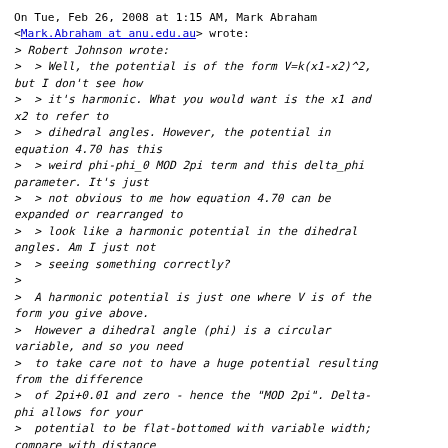On Tue, Feb 26, 2008 at 1:15 AM, Mark Abraham <Mark.Abraham at anu.edu.au> wrote:
> Robert Johnson wrote:
>  > Well, the potential is of the form V=k(x1-x2)^2, but I don't see how
>  > it's harmonic. What you would want is the x1 and x2 to refer to
>  > dihedral angles. However, the potential in equation 4.70 has this
>  > weird phi-phi_0 MOD 2pi term and this delta_phi parameter. It's just
>  > not obvious to me how equation 4.70 can be expanded or rearranged to
>  > look like a harmonic potential in the dihedral angles. Am I just not
>  > seeing something correctly?
>
>  A harmonic potential is just one where V is of the form you give above.
>  However a dihedral angle (phi) is a circular variable, and so you need
>  to take care not to have a huge potential resulting from the difference
>  of 2pi+0.01 and zero - hence the "MOD 2pi". Delta-phi allows for your
>  potential to be flat-bottomed with variable width; compare with distance
>  restraints and Figure 4.13. Try plotting the